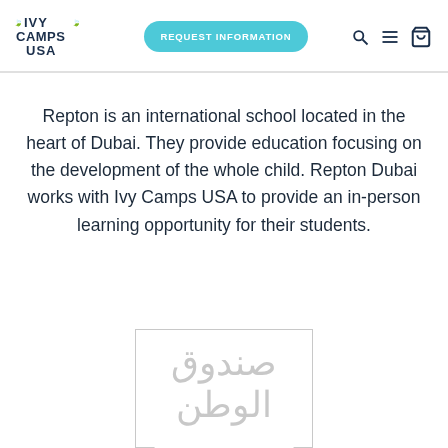IVY CAMPS USA | REQUEST INFORMATION
Repton is an international school located in the heart of Dubai. They provide education focusing on the development of the whole child. Repton Dubai works with Ivy Camps USA to provide an in-person learning opportunity for their students.
[Figure (logo): Sandooq Al Watan watermark logo with Arabic script and border]